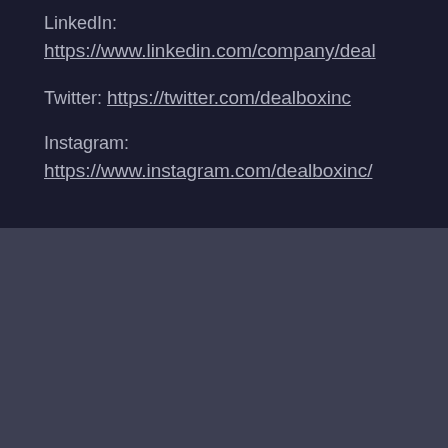LinkedIn: https://www.linkedin.com/company/deal
Twitter: https://twitter.com/dealboxinc
Instagram: https://www.instagram.com/dealboxinc/